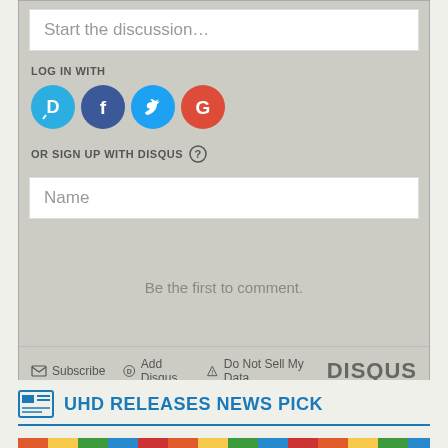Start the discussion…
LOG IN WITH
[Figure (other): Social login icons: Disqus (D), Facebook (F), Twitter bird, Google (G)]
OR SIGN UP WITH DISQUS ?
Name
Be the first to comment.
Subscribe  Add Disqus  Do Not Sell My Data  DISQUS
UHD RELEASES NEWS PICK